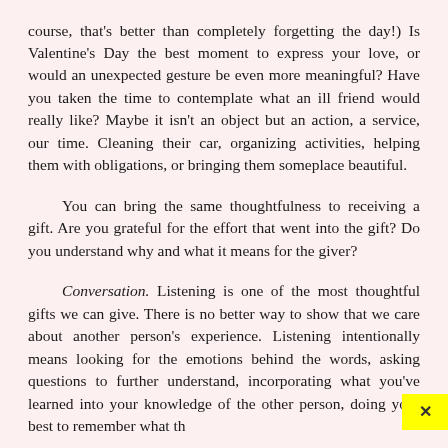course, that's better than completely forgetting the day!) Is Valentine's Day the best moment to express your love, or would an unexpected gesture be even more meaningful? Have you taken the time to contemplate what an ill friend would really like? Maybe it isn't an object but an action, a service, our time. Cleaning their car, organizing activities, helping them with obligations, or bringing them someplace beautiful.
You can bring the same thoughtfulness to receiving a gift. Are you grateful for the effort that went into the gift? Do you understand why and what it means for the giver?
Conversation. Listening is one of the most thoughtful gifts we can give. There is no better way to show that we care about another person's experience. Listening intentionally means looking for the emotions behind the words, asking questions to further understand, incorporating what you've learned into your knowledge of the other person, doing your best to remember what th